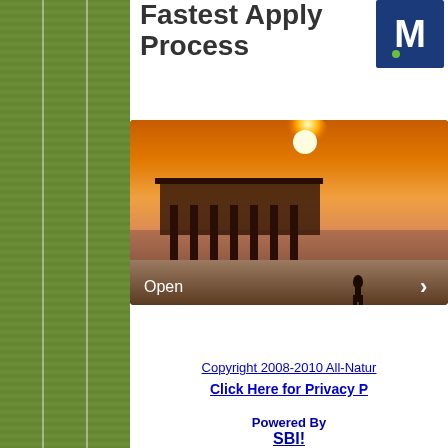[Figure (other): Green textured sidebar with three vertical columns separated by white lines]
Fastest Apply Process
[Figure (photo): Sunset beach photo showing a pier on the left and a silhouette of a person standing on the beach, with a bright orange and yellow sky]
Open
Copyright 2008-2010 All-Natur...
Click Here for Privacy P...
Powered By SBI!